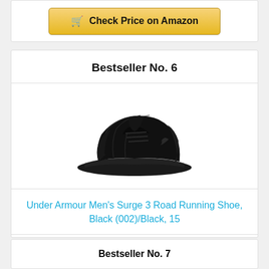[Figure (other): Check Price on Amazon button at top of page (partial card from previous item)]
Bestseller No. 6
[Figure (photo): Black Under Armour Surge 3 Road Running Shoe photographed on white background]
Under Armour Men's Surge 3 Road Running Shoe, Black (002)/Black, 15
[Figure (other): Check Price on Amazon button]
Bestseller No. 7